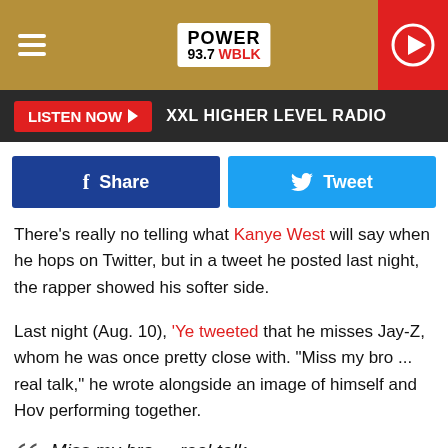[Figure (screenshot): Power 93.7 WBLK radio station header with logo and play button]
LISTEN NOW ▶  XXL HIGHER LEVEL RADIO
[Figure (screenshot): Facebook Share and Twitter Tweet social sharing buttons]
There's really no telling what Kanye West will say when he hops on Twitter, but in a tweet he posted last night, the rapper showed his softer side.
Last night (Aug. 10), 'Ye tweeted that he misses Jay-Z, whom he was once pretty close with. "Miss my bro ... real talk," he wrote alongside an image of himself and Hov performing together.
Miss my bro ... real talk
pic.twitter.com/qFS5HwYZxU